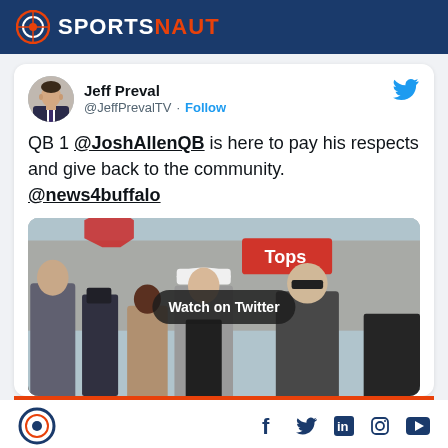SPORTSNAUT
Jeff Preval @JeffPrevalTV · Follow
QB 1 @JoshAllenQB is here to pay his respects and give back to the community. @news4buffalo
[Figure (photo): Video thumbnail showing Josh Allen in a white cap and gray jacket with 'CHOSE LOV' visible on his shirt, surrounded by people near a Tops supermarket, with a 'Watch on Twitter' overlay button]
Sportsnaut logo with social media icons: Facebook, Twitter, LinkedIn, Instagram, YouTube